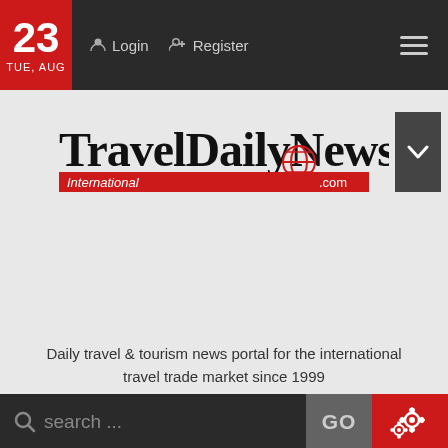23 TUE, AUG  Login  Register
[Figure (logo): TravelDailyNews International .com logo with red accent bar]
Daily travel & tourism news portal for the international travel trade market since 1999
search ...  GO
CRS + PMS = Success!